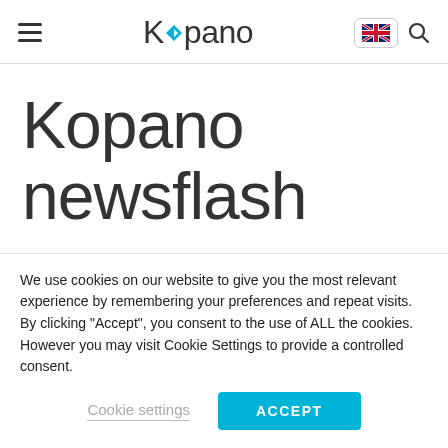Kopano — hamburger menu, language selector (UK flag), search icon
Kopano newsflash
We use cookies on our website to give you the most relevant experience by remembering your preferences and repeat visits. By clicking “Accept”, you consent to the use of ALL the cookies. However you may visit Cookie Settings to provide a controlled consent.